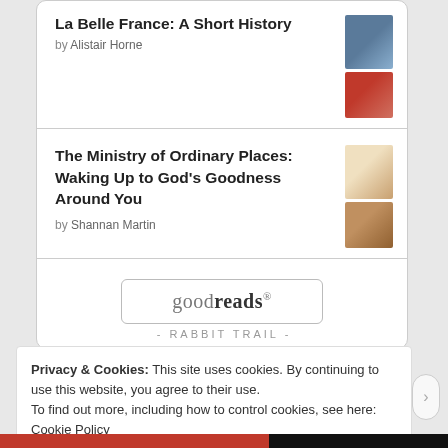La Belle France: A Short History
by Alistair Horne
The Ministry of Ordinary Places: Waking Up to God's Goodness Around You
by Shannan Martin
[Figure (logo): goodreads logo in a rounded rectangle button]
- RABBIT TRAIL -
Privacy & Cookies: This site uses cookies. By continuing to use this website, you agree to their use.
To find out more, including how to control cookies, see here: Cookie Policy
Close and accept